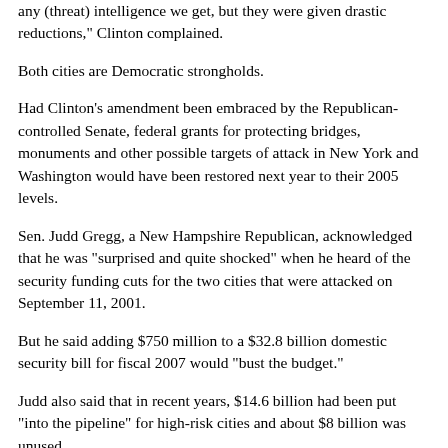any (threat) intelligence we get, but they were given drastic reductions," Clinton complained.
Both cities are Democratic strongholds.
Had Clinton's amendment been embraced by the Republican-controlled Senate, federal grants for protecting bridges, monuments and other possible targets of attack in New York and Washington would have been restored next year to their 2005 levels.
Sen. Judd Gregg, a New Hampshire Republican, acknowledged that he was "surprised and quite shocked" when he heard of the security funding cuts for the two cities that were attacked on September 11, 2001.
But he said adding $750 million to a $32.8 billion domestic security bill for fiscal 2007 would "bust the budget."
Judd also said that in recent years, $14.6 billion had been put "into the pipeline" for high-risk cities and about $8 billion was unused.